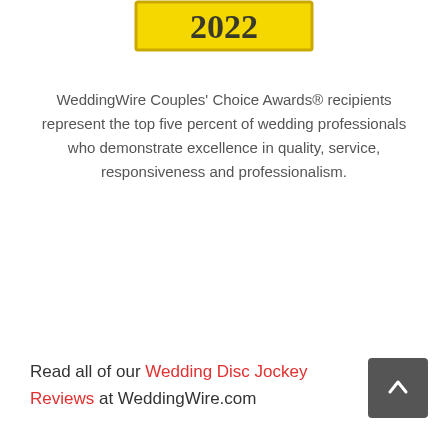[Figure (other): Partial yellow banner/badge showing '2022' text in large bold serif font with yellow background and dark yellow border]
WeddingWire Couples' Choice Awards® recipients represent the top five percent of wedding professionals who demonstrate excellence in quality, service, responsiveness and professionalism.
Read all of our Wedding Disc Jockey Reviews at WeddingWire.com